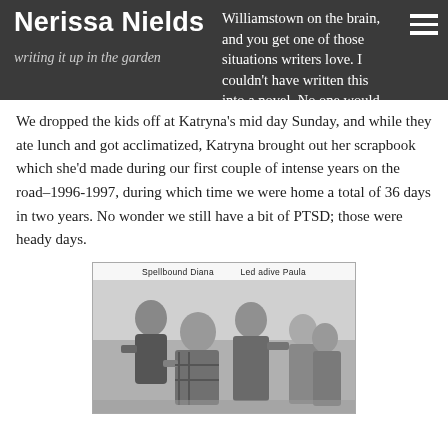Nerissa Nields | writing it up in the garden | Williamstown on the brain, and you get one of those situations writers love. I couldn't have written this into a novel. No one would have believed it.
We dropped the kids off at Katryna's mid day Sunday, and while they ate lunch and got acclimatized, Katryna brought out her scrapbook which she'd made during our first couple of intense years on the road–1996-1997, during which time we were home a total of 36 days in two years. No wonder we still have a bit of PTSD; those were heady days.
[Figure (photo): Black and white newspaper photo of four people, with a caption bar reading 'Spellbound Diana' and 'Led adive Paula']